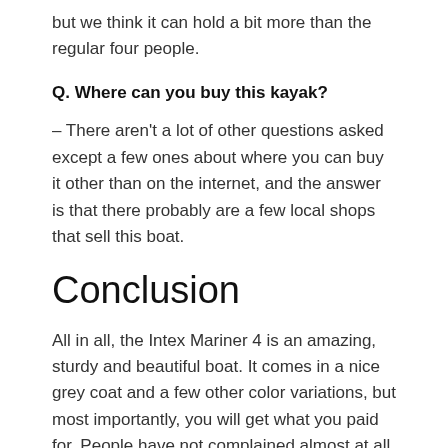but we think it can hold a bit more than the regular four people.
Q. Where can you buy this kayak?
– There aren't a lot of other questions asked except a few ones about where you can buy it other than on the internet, and the answer is that there probably are a few local shops that sell this boat.
Conclusion
All in all, the Intex Mariner 4 is an amazing, sturdy and beautiful boat. It comes in a nice grey coat and a few other color variations, but most importantly, you will get what you paid for. People have not complained almost at all about this boat